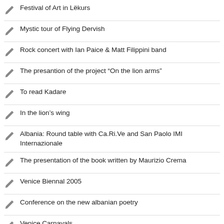Festival of Art in Lëkurs
Mystic tour of Flying Dervish
Rock concert with Ian Paice & Matt Filippini band
The presantion of the project “On the lion arms”
To read Kadare
In the lion’s wing
Albania: Round table with Ca.Ri.Ve and San Paolo IMI Internazionale
The presentation of the book written by Maurizio Crema
Venice Biennal 2005
Conference on the new albanian poetry
Venice Carnavals
Conference on the promotion of cultural and eviromental heritage of Perastos. Montenegro
Cultural rally of Arbëresh Community in Kalabri on theme: